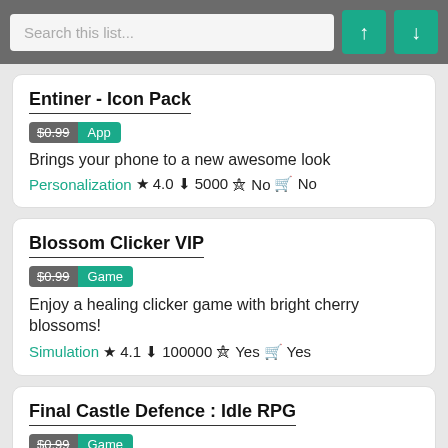Search this list...
Entiner - Icon Pack
$0.99 App
Brings your phone to a new awesome look
Personalization ★ 4.0 ↓ 5000 ⊙ No 🛒 No
Blossom Clicker VIP
$0.99 Game
Enjoy a healing clicker game with bright cherry blossoms!
Simulation ★ 4.1 ↓ 100000 ⊙ Yes 🛒 Yes
Final Castle Defence : Idle RPG
$0.99 Game
The best action defense game!
Arcade ★ 4.2 ↓ 10000 ⊙ Yes 🛒 Yes